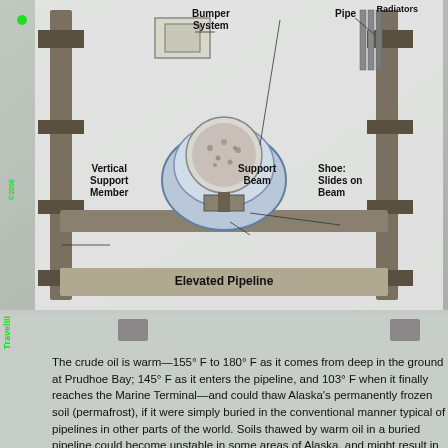[Figure (schematic): Diagram of an elevated pipeline support structure showing: Bumper System, Pipe, Radiators (top), Vertical Support Member, Support Beam, Shoe: Slides on Beam (middle), and Elevated Pipeline label at bottom. Labels point to components of an H-frame support structure with pipe resting on a saddle/shoe assembly.]
The crude oil is warm—155° F to 180° F as it comes from deep in the ground at Prudhoe Bay; 145° F as it enters the pipeline, and 103° F when it finally reaches the Marine Terminal—and could thaw Alaska's permanently frozen soil (permafrost), if it were simply buried in the conventional manner typical of pipelines in other parts of the world. Soils thawed by warm oil in a buried pipeline could become unstable in some areas of Alaska, and might result in